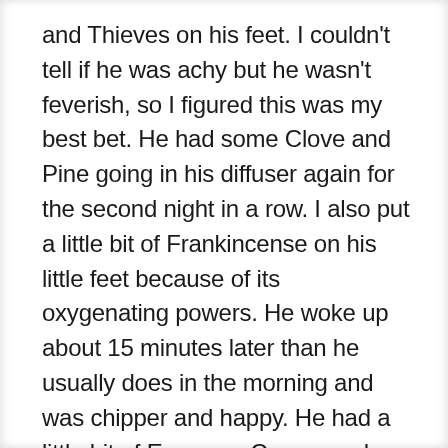and Thieves on his feet. I couldn't tell if he was achy but he wasn't feverish, so I figured this was my best bet. He had some Clove and Pine going in his diffuser again for the second night in a row. I also put a little bit of Frankincense on his little feet because of its oxygenating powers. He woke up about 15 minutes later than he usually does in the morning and was chipper and happy. He had a little bit of Emergen-C, no cough, no runny nose, nothin'! He was just fine. He's definitely fighting a cold right now, it hasn't busted its